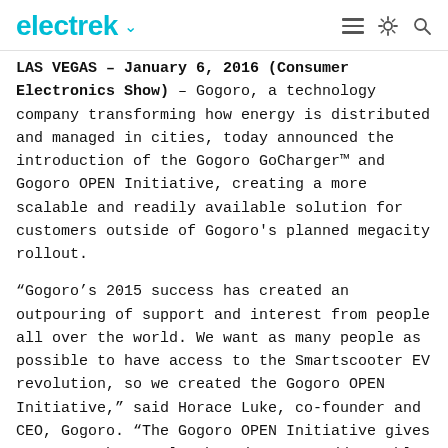electrek
LAS VEGAS – January 6, 2016 (Consumer Electronics Show) – Gogoro, a technology company transforming how energy is distributed and managed in cities, today announced the introduction of the Gogoro GoCharger™ and Gogoro OPEN Initiative, creating a more scalable and readily available solution for customers outside of Gogoro's planned megacity rollout.
“Gogoro’s 2015 success has created an outpouring of support and interest from people all over the world. We want as many people as possible to have access to the Smartscooter EV revolution, so we created the Gogoro OPEN Initiative,” said Horace Luke, co-founder and CEO, Gogoro. “The Gogoro OPEN Initiative gives power to the people, broadens our addressable